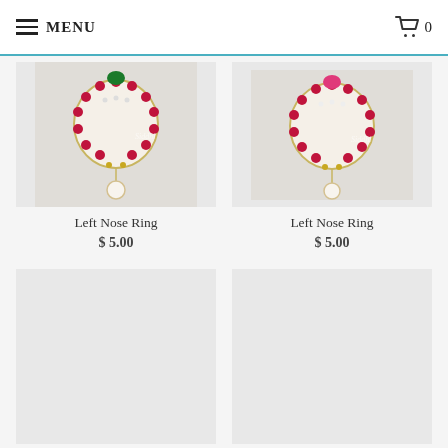MENU | 0
[Figure (photo): Left Nose Ring product photo - gold ring with ruby red gemstones arranged in circular pattern, with pearl drop, emerald green stone, on light background. Siddhi watermark visible.]
Left Nose Ring
$ 5.00
[Figure (photo): Left Nose Ring product photo - gold ring with ruby red gemstones in circular arrangement, with pearl drop, pink/magenta stone on top, on light background. Siddhi watermark visible.]
Left Nose Ring
$ 5.00
[Figure (photo): Left Nose Ring product photo - blank/loading placeholder, light gray rectangle.]
Left Nose Ring
$ 5.00
[Figure (photo): Left Nose Ring product photo - blank/loading placeholder, light gray rectangle.]
Left Nose Ring
$ 5.00